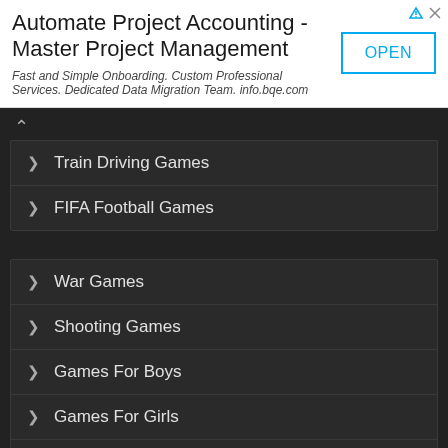[Figure (other): Advertisement banner: 'Automate Project Accounting - Master Project Management' with OPEN button]
Train Driving Games
FIFA Football Games
War Games
Shooting Games
Games For Boys
Games For Girls
MiniClip Games
Adventure Games